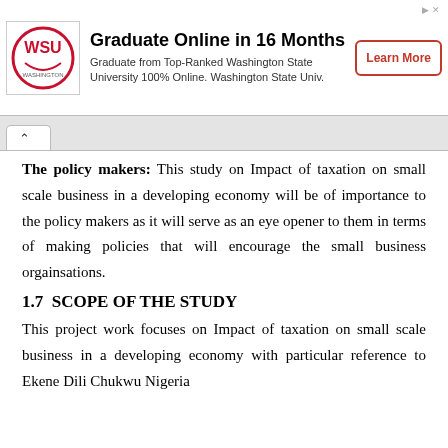[Figure (logo): WSU Washington State University advertisement banner with logo, text 'Graduate Online in 16 Months', and Learn More button]
The policy makers: This study on Impact of taxation on small scale business in a developing economy will be of importance to the policy makers as it will serve as an eye opener to them in terms of making policies that will encourage the small business orgainsations.
1.7  SCOPE OF THE STUDY
This project work focuses on Impact of taxation on small scale business in a developing economy with particular reference to Ekene Dili Chukwu Nigeria